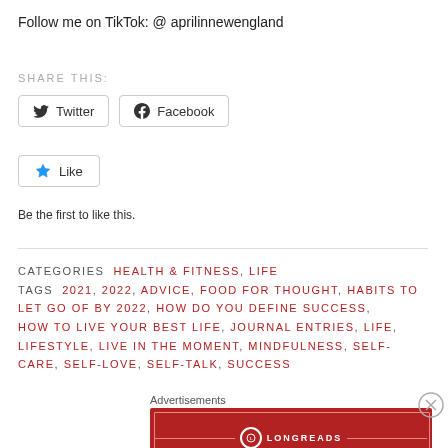Follow me on TikTok: @ aprilinnewengland
SHARE THIS:
[Figure (screenshot): Twitter and Facebook share buttons]
[Figure (screenshot): Like button with star icon]
Be the first to like this.
CATEGORIES  HEALTH & FITNESS,  LIFE
TAGS  2021,  2022,  ADVICE,  FOOD FOR THOUGHT,  HABITS TO LET GO OF BY 2022,  HOW DO YOU DEFINE SUCCESS,  HOW TO LIVE YOUR BEST LIFE,  JOURNAL ENTRIES,  LIFE,  LIFESTYLE,  LIVE IN THE MOMENT,  MINDFULNESS,  SELF-CARE,  SELF-LOVE,  SELF-TALK,  SUCCESS
Advertisements
[Figure (screenshot): Longreads advertisement banner: The best stories on the web – ours, and everyone else's.]